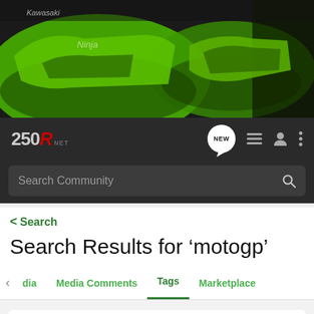[Figure (photo): Green Kawasaki motorcycles hero banner image, two Ninja bikes visible against dark background with trees]
250R.NET — navigation bar with logo, NEW chat icon, list icon, user icon, and menu icon
Search Community
< Search
Search Results for ‘motogp’
Media  Media Comments  Tags  Marketplace
Search Tags
× motogp  Search